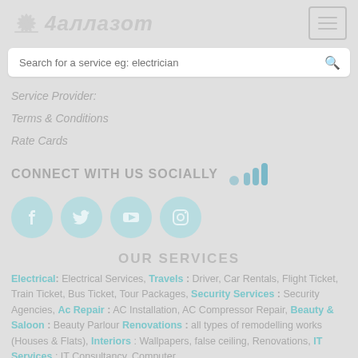[Figure (logo): 4ALASOM website logo with decorative leaf/sun icon and italic stylized text]
[Figure (screenshot): Hamburger menu button in top right corner]
Search for a service eg: electrician
Service Provider:
Terms & Conditions
Rate Cards
CONNECT WITH US SOCIALLY
[Figure (infographic): Mobile signal / bar chart icon with teal colored bars]
[Figure (infographic): Four social media circle icons: Facebook, Twitter, YouTube, Instagram]
OUR SERVICES
Electrical: Electrical Services, Travels : Driver, Car Rentals, Flight Ticket, Train Ticket, Bus Ticket, Tour Packages, Security Services : Security Agencies, Ac Repair : AC Installation, AC Compressor Repair, Beauty & Saloon : Beauty Parlour Renovations : all types of remodelling works (Houses & Flats), Interiors : Wallpapers, false ceiling, Renovations, IT Services : IT Consultancy, Computer